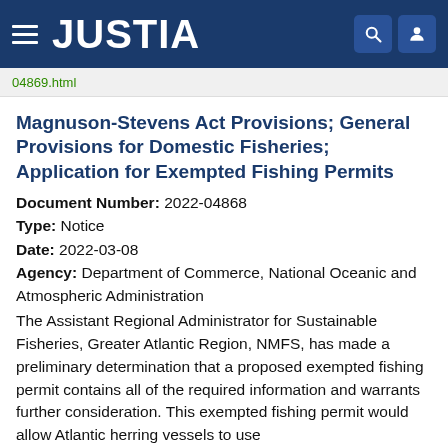JUSTIA
04869.html
Magnuson-Stevens Act Provisions; General Provisions for Domestic Fisheries; Application for Exempted Fishing Permits
Document Number: 2022-04868
Type: Notice
Date: 2022-03-08
Agency: Department of Commerce, National Oceanic and Atmospheric Administration
The Assistant Regional Administrator for Sustainable Fisheries, Greater Atlantic Region, NMFS, has made a preliminary determination that a proposed exempted fishing permit contains all of the required information and warrants further consideration. This exempted fishing permit would allow Atlantic herring vessels to use